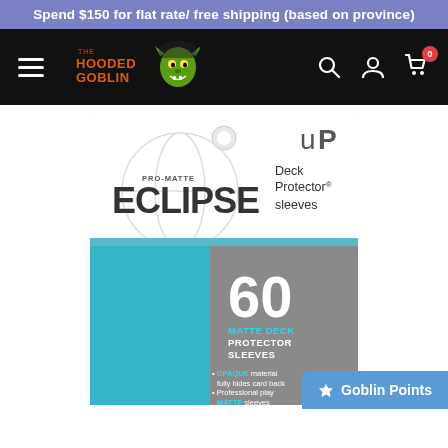Spend $150 for flat rate/free shipping (based on province)
[Figure (logo): The Hooded Goblin logo with green goblin character and orange/red text on black navigation bar with hamburger menu, search, account, and cart icons]
[Figure (photo): Ultra Pro Eclipse Pro-Matte Deck Protector Sleeves product package, light blue/teal color, 60 count, showing OPAQUE material fully hides card back, Professional play MATTE sleeves, SMOOTH shuffle, STORES & PROTECTS text]
Goblin Points